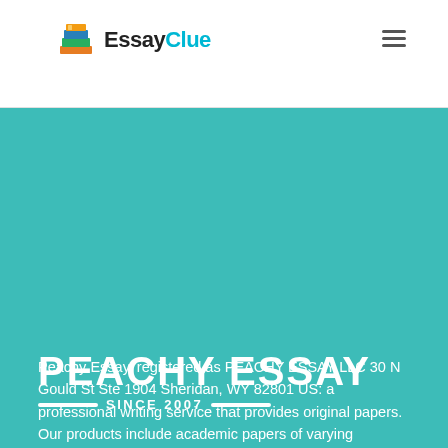[Figure (logo): EssayClue logo with stacked books icon and text 'EssayClue' where 'Clue' is in teal]
[Figure (logo): Hamburger menu icon (three horizontal lines) in top right of header]
[Figure (logo): Peachy Essay logo on teal background: large bold white text 'PEACHY ESSAY' with 'SINCE 2007' below flanked by decorative lines]
Peachy Essay, registered as PEACHY ESSAY LLC 30 N Gould St Ste 1904 Sheridan, WY 82801 US: a professional writing service that provides original papers. Our products include academic papers of varying complexity and other personalized services, along with research materials for